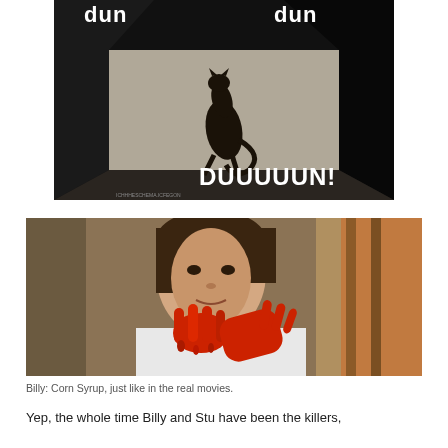[Figure (photo): Meme image of a cat shadow on a carpet with text 'dun dun DUUUUUN!' in white bold font on a dark background]
[Figure (photo): Movie still showing a young man with blood-red hands raised to his mouth, wearing a white shirt, from the movie Scream]
Billy: Corn Syrup, just like in the real movies.
Yep, the whole time Billy and Stu have been the killers,